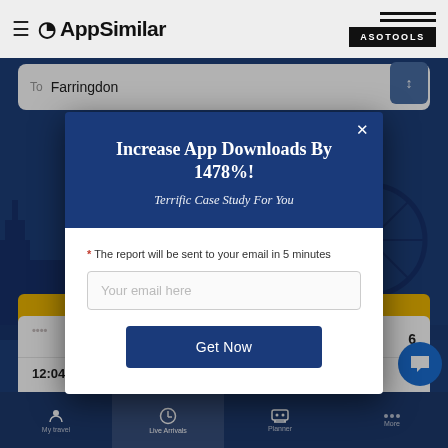AppSimilar | ASOTOOLS
[Figure (screenshot): Mobile app screenshot showing transit app with 'To Farringdon' destination and London skyline background, with train listings showing Bridge and Bedford via London Bridge routes]
Increase App Downloads By 1478%!
Terrific Case Study For You
* The report will be sent to your email in 5 minutes
Your email here
Get Now